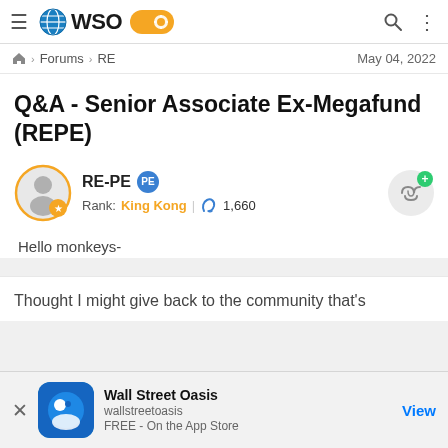WSO - Wall Street Oasis
Forums › RE   May 04, 2022
Q&A - Senior Associate Ex-Megafund (REPE)
RE-PE  PE  Rank: King Kong  | 🍌 1,660
Hello monkeys-
Thought I might give back to the community that's
Wall Street Oasis
wallstreetoasis
FREE - On the App Store
View